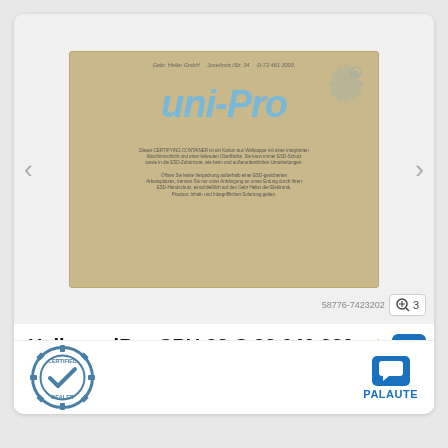[Figure (photo): Product photo of a cardboard box labeled 'uni-Pro' by Gebr. Heller GmbH, a CNC controller CPU card in sealed original packaging (OVP). The box is light tan/beige with blue uni-Pro italic logo and gear watermark, with ESD warning text at the bottom.]
Heller uniPro CPU 28 C 23.040 220 CPU CNC Karte - - in versiegelter OVP
[Figure (logo): Certified Dealer badge — circular stamp with gear border, checkmark, text 'CERTIFIED DEALER']
PALAUTE